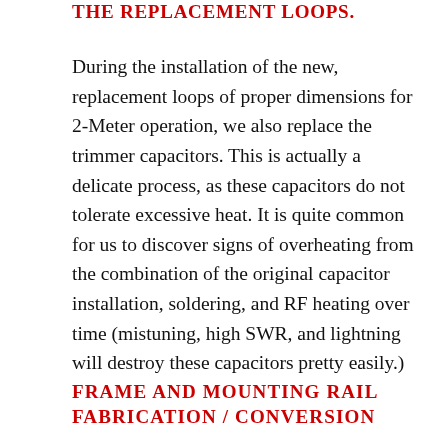the replacement loops.
During the installation of the new, replacement loops of proper dimensions for 2-Meter operation, we also replace the trimmer capacitors. This is actually a delicate process, as these capacitors do not tolerate excessive heat. It is quite common for us to discover signs of overheating from the combination of the original capacitor installation, soldering, and RF heating over time (mistuning, high SWR, and lightning will destroy these capacitors pretty easily.)
FRAME AND MOUNTING RAIL FABRICATION / CONVERSION